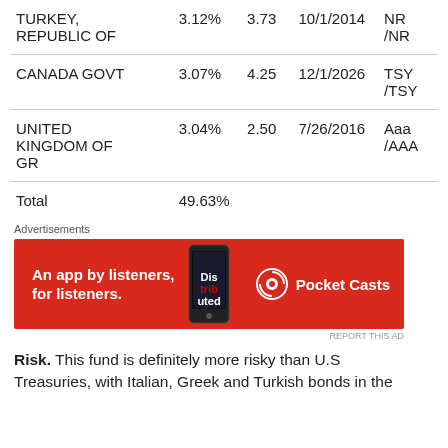|  | % |  | Date | Rating |
| --- | --- | --- | --- | --- |
| TURKEY, REPUBLIC OF | 3.12% | 3.73 | 10/1/2014 | NR /NR |
| CANADA GOVT | 3.07% | 4.25 | 12/1/2026 | TSY /TSY |
| UNITED KINGDOM OF GR | 3.04% | 2.50 | 7/26/2016 | Aaa /AAA |
| Total | 49.63% |  |  |  |
[Figure (other): Pocket Casts advertisement: An app by listeners, for listeners.]
Risk. This fund is definitely more risky than U.S Treasuries, with Italian, Greek and Turkish bonds in the